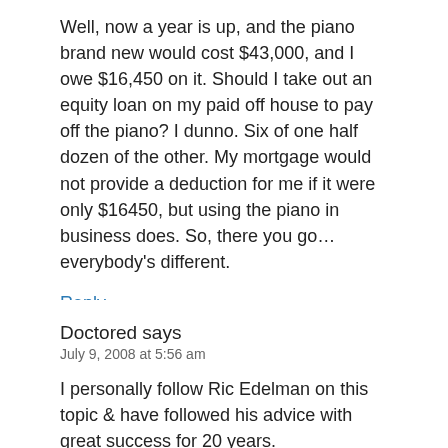Well, now a year is up, and the piano brand new would cost $43,000, and I owe $16,450 on it. Should I take out an equity loan on my paid off house to pay off the piano? I dunno. Six of one half dozen of the other. My mortgage would not provide a deduction for me if it were only $16450, but using the piano in business does. So, there you go... everybody's different.
Reply
Doctored says
July 9, 2008 at 5:56 am
I personally follow Ric Edelman on this topic & have followed his advice with great success for 20 years.
Your comment about the AMT is wrong.